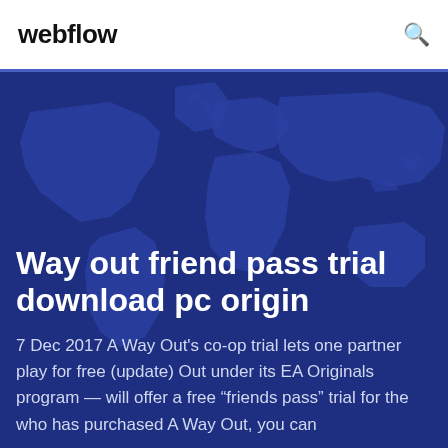webflow
[Figure (illustration): Dark blue world map silhouette background for hero section]
Way out friend pass trial download pc origin
7 Dec 2017 A Way Out's co-op trial lets one partner play for free (update) Out under its EA Originals program — will offer a free “friends pass” trial for the who has purchased A Way Out, you can